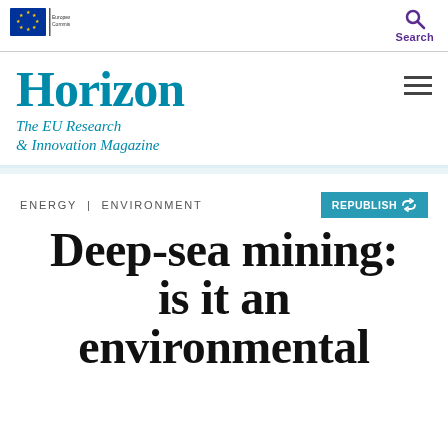[Figure (logo): European Commission logo with EU flag and text 'European Commission']
[Figure (other): Search icon (magnifying glass) with label 'Search' in purple]
Horizon
The EU Research & Innovation Magazine
[Figure (other): Hamburger menu icon (three horizontal lines)]
ENERGY | ENVIRONMENT
REPUBLISH
Deep-sea mining: is it an environmental